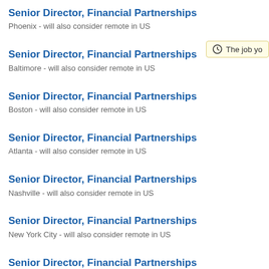Senior Director, Financial Partnerships
Phoenix - will also consider remote in US
Senior Director, Financial Partnerships
Baltimore - will also consider remote in US
Senior Director, Financial Partnerships
Boston - will also consider remote in US
Senior Director, Financial Partnerships
Atlanta - will also consider remote in US
Senior Director, Financial Partnerships
Nashville - will also consider remote in US
Senior Director, Financial Partnerships
New York City - will also consider remote in US
Senior Director, Financial Partnerships
San Francisco - will also consider remote in US
The job yo